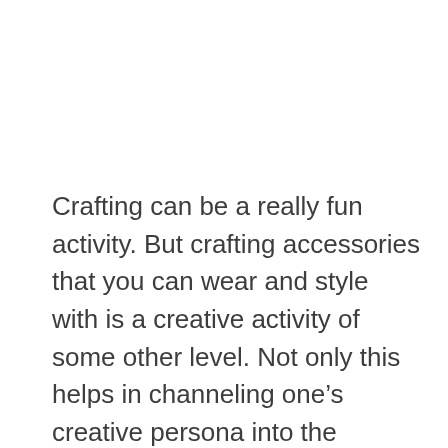Crafting can be a really fun activity. But crafting accessories that you can wear and style with is a creative activity of some other level. Not only this helps in channeling one’s creative persona into the crafted object, but also this can become a fashion statement, for both the crafter and the wearer. Given the rich heritage of our folk culture consisting of the prevalence of craftworks of the cottage industry and home-crafts, we Bangladeshi